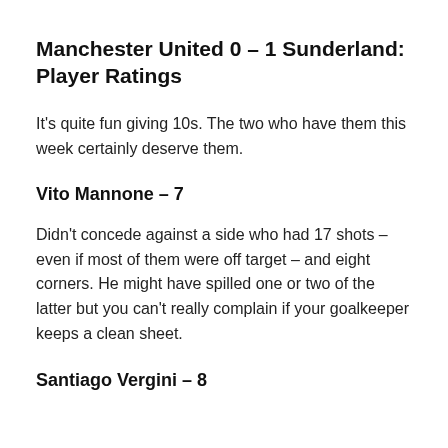Manchester United 0 – 1 Sunderland: Player Ratings
It's quite fun giving 10s. The two who have them this week certainly deserve them.
Vito Mannone – 7
Didn't concede against a side who had 17 shots – even if most of them were off target – and eight corners. He might have spilled one or two of the latter but you can't really complain if your goalkeeper keeps a clean sheet.
Santiago Vergini – 8